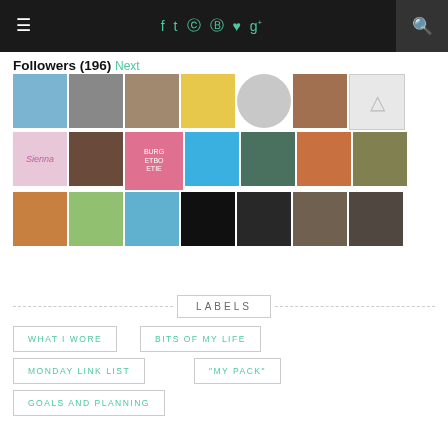Navigation bar with hamburger menu, social icons (f, t, instagram, pinterest, heart, g+), and search
Followers (196) Next
[Figure (photo): Grid of 21 follower avatar thumbnails in 4 rows]
LABELS
WHAT I WORE
BITS OF MY LIFE
MONDAY LINK LIST
"MY PACK"
GOALS AND PLANNING